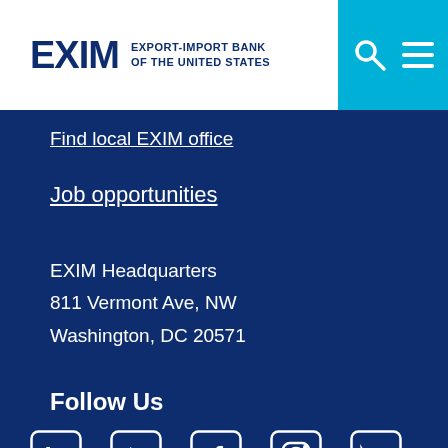EXIM EXPORT-IMPORT BANK OF THE UNITED STATES
Find local EXIM office
Job opportunities
EXIM Headquarters
811 Vermont Ave, NW
Washington, DC 20571
Follow Us
[Figure (infographic): Social media icons: LinkedIn, YouTube, Facebook, Instagram, Twitter]